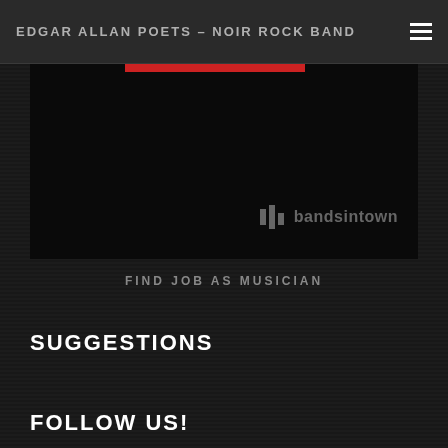EDGAR ALLAN POETS – NOIR ROCK BAND
[Figure (screenshot): Bandsintown widget embed with black background and bandsintown logo watermark in gray, red bar at top]
FIND JOB AS MUSICIAN
SUGGESTIONS
FOLLOW US!